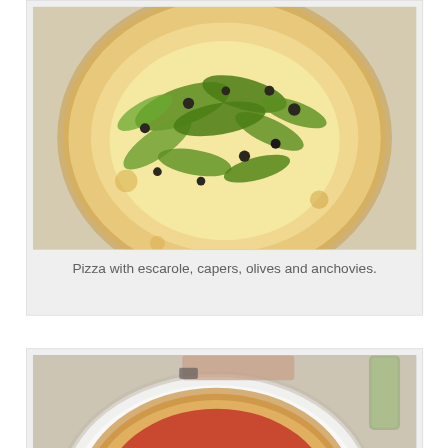[Figure (photo): Photo of a pizza topped with escarole, capers, olives and anchovies on a baked crust]
Pizza with escarole, capers, olives and anchovies.
[Figure (photo): Photo of a Pizza Margherita with tomato sauce, mozzarella and basil on a plate, with a glass in background]
Pizza Margherita